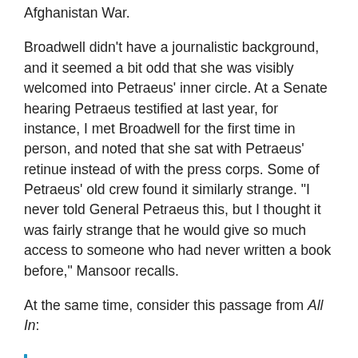Afghanistan War.
Broadwell didn't have a journalistic background, and it seemed a bit odd that she was visibly welcomed into Petraeus' inner circle. At a Senate hearing Petraeus testified at last year, for instance, I met Broadwell for the first time in person, and noted that she sat with Petraeus' retinue instead of with the press corps. Some of Petraeus' old crew found it similarly strange. “I never told General Petraeus this, but I thought it was fairly strange that he would give so much access to someone who had never written a book before,” Mansoor recalls.
At the same time, consider this passage from All In:
Far beyond his influence on the institutions and commands in Iraq and Afghanistan,